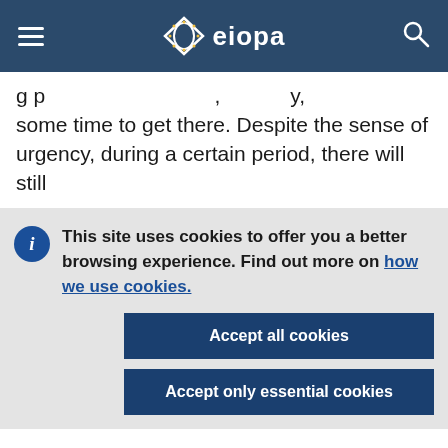EIOPA — European Insurance and Occupational Pensions Authority
g p , y, some time to get there. Despite the sense of urgency, during a certain period, there will still
This site uses cookies to offer you a better browsing experience. Find out more on how we use cookies.
Accept all cookies
Accept only essential cookies